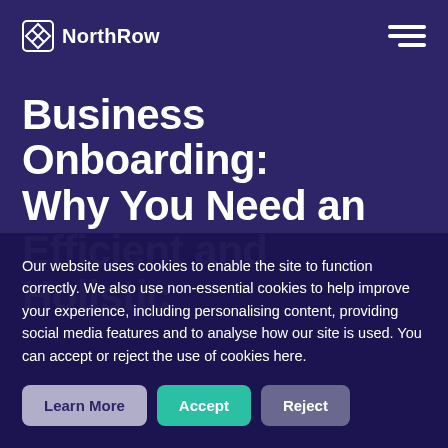NorthRow
Business Onboarding: Why You Need an Efficient and Holistic
Our website uses cookies to enable the site to function correctly. We also use non-essential cookies to help improve your experience, including personalising content, providing social media features and to analyse how our site is used. You can accept or reject the use of cookies here.
Learn More
Accept
Reject